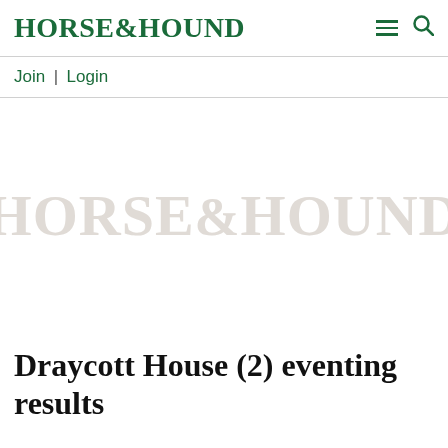HORSE&HOUND
Join | Login
[Figure (logo): Horse & Hound watermark logo in light grey as a placeholder image background]
Draycott House (2) eventing results (…)